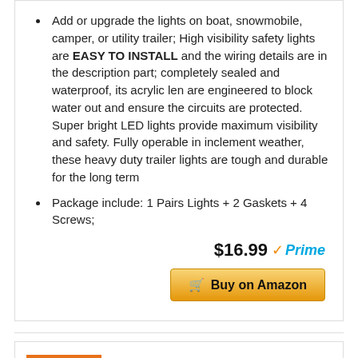Add or upgrade the lights on boat, snowmobile, camper, or utility trailer; High visibility safety lights are EASY TO INSTALL and the wiring details are in the description part; completely sealed and waterproof, its acrylic len are engineered to block water out and ensure the circuits are protected. Super bright LED lights provide maximum visibility and safety. Fully operable in inclement weather, these heavy duty trailer lights are tough and durable for the long term
Package include: 1 Pairs Lights + 2 Gaskets + 4 Screws;
$16.99 Prime
Buy on Amazon
RANK NO. 2